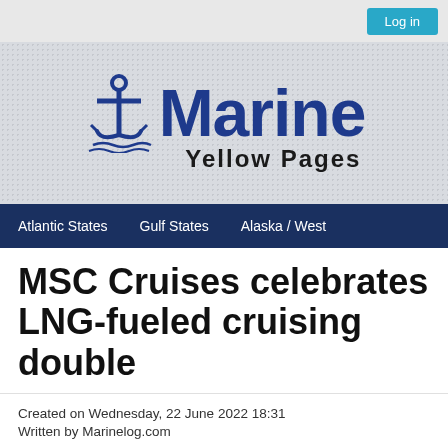Log in
[Figure (logo): Marine Yellow Pages logo with anchor icon and large blue 'Marine' text and 'Yellow Pages' subtitle]
Atlantic States  Gulf States  Alaska / West
MSC Cruises celebrates LNG-fueled cruising double
Created on Wednesday, 22 June 2022 18:31
Written by Marinelog.com
June 22, 2022